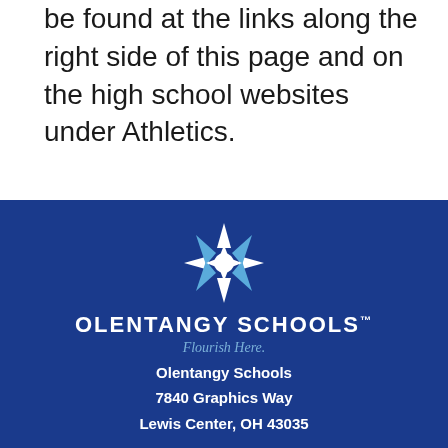be found at the links along the right side of this page and on the high school websites under Athletics.
[Figure (logo): Olentangy Schools star/snowflake logo in white and light blue on dark blue background]
OLENTANGY SCHOOLS™
Flourish Here.
Olentangy Schools
7840 Graphics Way
Lewis Center, OH 43035